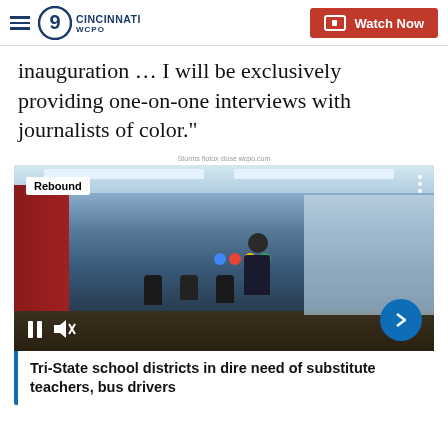WCPO 9 Cincinnati — Watch Now
inauguration … I will be exclusively providing one-on-one interviews with journalists of color."
Storms flotox close wcpo.com
[Figure (screenshot): Video thumbnail showing a classroom scene with students at desks and a teacher standing. 'Rebound' badge in top left. Video player controls visible at bottom including pause and mute icons, and a blue arrow next button.]
Tri-State school districts in dire need of substitute teachers, bus drivers